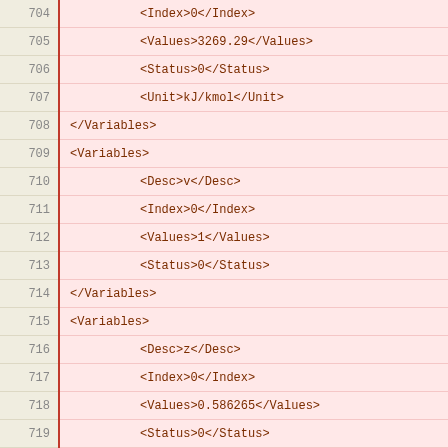704: <Index>0</Index>
705: <Values>3269.29</Values>
706: <Status>0</Status>
707: <Unit>kJ/kmol</Unit>
708: </Variables>
709: <Variables>
710: <Desc>v</Desc>
711: <Index>0</Index>
712: <Values>1</Values>
713: <Status>0</Status>
714: </Variables>
715: <Variables>
716: <Desc>z</Desc>
717: <Index>0</Index>
718: <Values>0.586265</Values>
719: <Status>0</Status>
720: <Index>1</Index>
721: